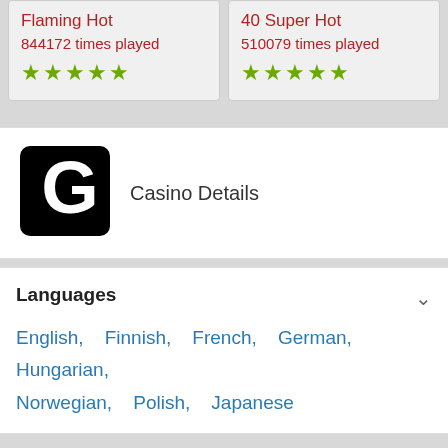Flaming Hot
844172 times played
★★★★★
40 Super Hot
510079 times played
★★★★★
[Figure (logo): Large bold letter G logo in black]
Casino Details
Languages
English, Finnish, French, German, Hungarian, Norwegian, Polish, Japanese
Jurisdiction
Banking